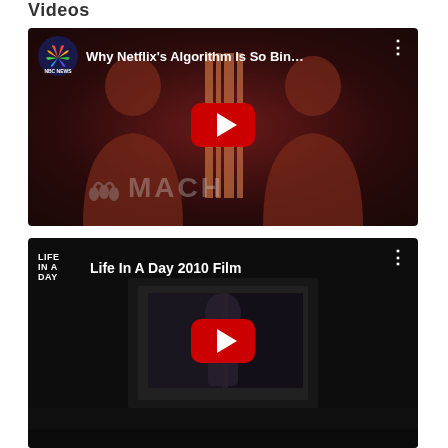Videos
[Figure (screenshot): YouTube video thumbnail for 'Why Netflix's Algorithm Is So Bin...' by NBC News MACH, showing two human silhouettes with a barcode/filmstrip in the center on a dark red background, with NBC peacock logo and YouTube play button.]
[Figure (screenshot): YouTube video thumbnail for 'Life In A Day 2010 Film' with Life In A Day logo, showing a dark composite of movie poster imagery with YouTube play button in center.]